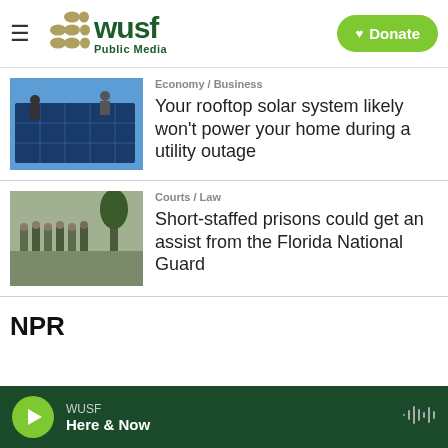WUSF Public Media — Donate
[Figure (photo): Workers installing solar panels on a rooftop]
Economy / Business
Your rooftop solar system likely won't power your home during a utility outage
[Figure (photo): Group of military personnel in camouflage uniforms standing outdoors]
Courts / Law
Short-staffed prisons could get an assist from the Florida National Guard
NPR
WUSF — Here & Now